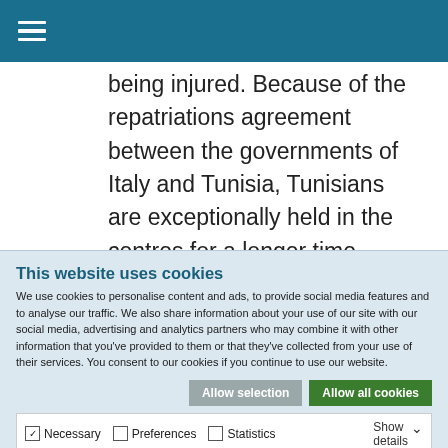Navigation menu (hamburger icon)
being injured. Because of the repatriations agreement between the governments of Italy and Tunisia, Tunisians are exceptionally held in the centres for a longer time period until they are forced to repatriate. After the fire, 100 Tunisians were sent back to
This website uses cookies
We use cookies to personalise content and ads, to provide social media features and to analyse our traffic. We also share information about your use of our site with our social media, advertising and analytics partners who may combine it with other information that you've provided to them or that they've collected from your use of their services. You consent to our cookies if you continue to use our website.
Allow selection | Allow all cookies
Necessary | Preferences | Statistics | Marketing | Show details